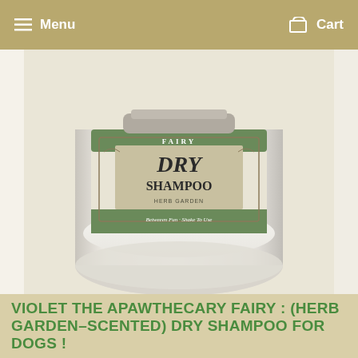Menu   Cart
[Figure (photo): Close-up of a jar of Fairy Dry Shampoo with herb garden label, showing the bottom portion of the jar with white powder inside, on a white/light background]
[Figure (photo): Thumbnail 1: Full jar of Fairy Dry Shampoo with label]
[Figure (photo): Thumbnail 2: Slightly smaller view of Fairy Dry Shampoo jar]
[Figure (photo): Thumbnail 3: Jack Russell Terrier dog with Fairy Dry Shampoo jar on a plaid surface]
[Figure (photo): Thumbnail 4: Three dogs at top and application instruction icons (inside, outside, brush) at bottom]
VIOLET THE APAWTHECARY FAIRY : (HERB GARDEN-SCENTED) DRY SHAMPOO FOR DOGS !